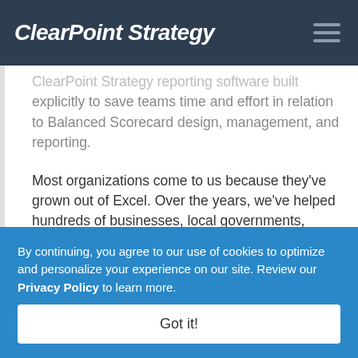ClearPoint Strategy
ClearPoint Strategy reporting software built explicitly to save teams time and effort in relation to Balanced Scorecard design, management, and reporting.
Most organizations come to us because they've grown out of Excel. Over the years, we've helped hundreds of businesses, local governments, nonprofits, and healthcare organizations...
By continuing, you agree to our use of cookies to optimize and personalize your experience on our site. Review our Privacy Policy to learn more.
Got it!